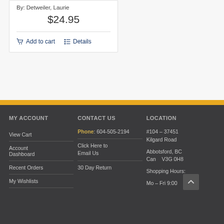By: Detweiler, Laurie
$24.95
Add to cart
Details
MY ACCOUNT | CONTACT US | LOCATION
View Cart
Account Dashboard
Recent Orders
My Wishlists
Phone: 604-505-2194
Click Here to Email Us
30 Day Return
#104 – 37451 Kilgard Road
Abbotsford, BC Canada V3G 0H8
Shopping Hours:
Mo – Fri 9:00